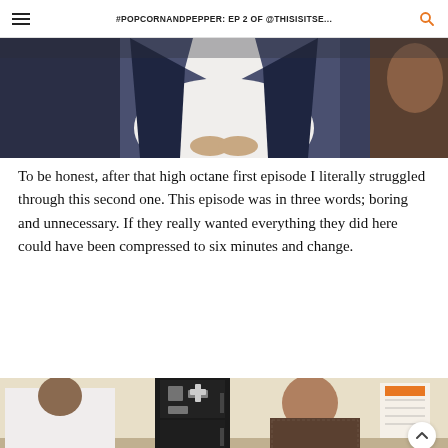#POPCORNANDPEPPER: EP 2 OF @THISISITSE...
[Figure (photo): Close-up photo of a person wearing a white t-shirt and dark navy jacket, hands clasped together. Another person partially visible on the right side.]
To be honest, after that high octane first episode I literally struggled through this second one. This episode was in three words; boring and unnecessary. If they really wanted everything they did here could have been compressed to six minutes and change.
[Figure (photo): Photo of two people in what appears to be a kitchen. One person wearing a white shirt on the left, another person wearing a patterned shirt examining a black refrigerator with magnets on it. A calendar or chart is visible on the wall in the background.]